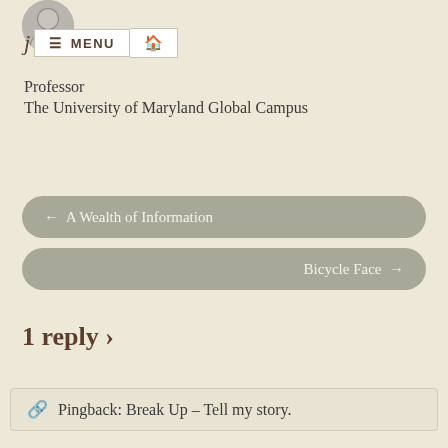[Figure (photo): Circular avatar photo of a person in black and white]
j ☰ MENU 🏠
Professor
The University of Maryland Global Campus
← A Wealth of Information
Bicycle Face →
1 reply ›
Pingback: Break Up – Tell my story.